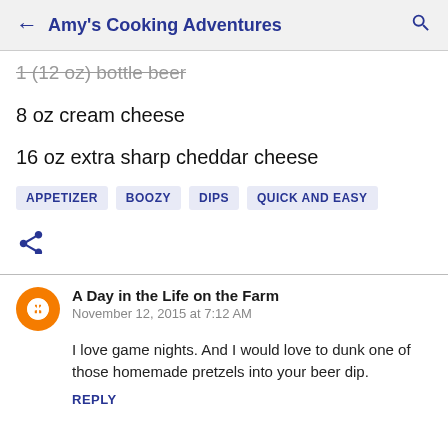Amy's Cooking Adventures
1 (12 oz) bottle beer
8 oz cream cheese
16 oz extra sharp cheddar cheese
APPETIZER   BOOZY   DIPS   QUICK AND EASY
A Day in the Life on the Farm
November 12, 2015 at 7:12 AM
I love game nights. And I would love to dunk one of those homemade pretzels into your beer dip.
REPLY